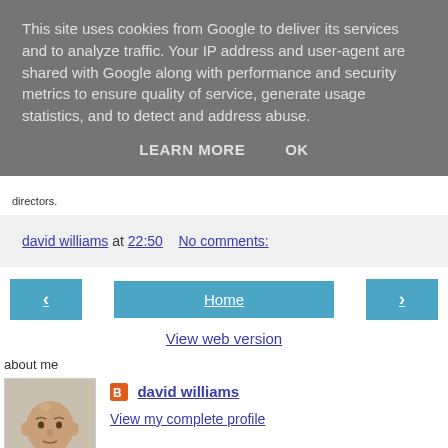This site uses cookies from Google to deliver its services and to analyze traffic. Your IP address and user-agent are shared with Google along with performance and security metrics to ensure quality of service, generate usage statistics, and to detect and address abuse.
LEARN MORE   OK
directors.
david williams at 22:50   No comments:
[Figure (other): Navigation row with left arrow button, Home button, and right arrow button in teal/blue color]
View web version
about me
[Figure (photo): Profile photo of david williams - middle-aged bald man]
david williams
View my complete profile